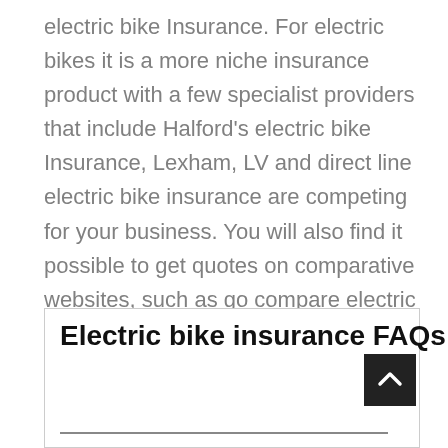electric bike Insurance. For electric bikes it is a more niche insurance product with a few specialist providers that include Halford's electric bike Insurance, Lexham, LV and direct line electric bike insurance are competing for your business. You will also find it possible to get quotes on comparative websites, such as go compare electric bike Insurance. We can also help by providing comparison quotes from top UK providers of electric bicycle insurance. Select quote button below to get started.
Electric bike insurance FAQs